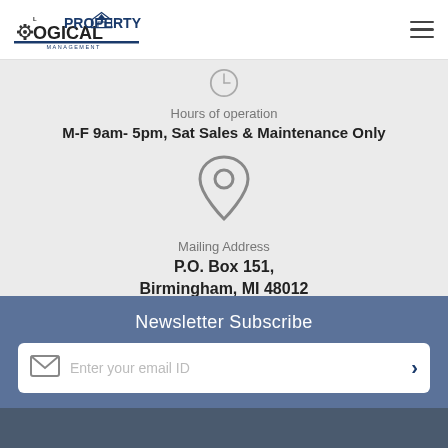[Figure (logo): Logical Property Management logo with gear and house icon]
Hours of operation
M-F 9am- 5pm, Sat Sales & Maintenance Only
[Figure (illustration): Map pin / location icon]
Mailing Address
P.O. Box 151, Birmingham, MI 48012
Newsletter Subscribe
Enter your email ID